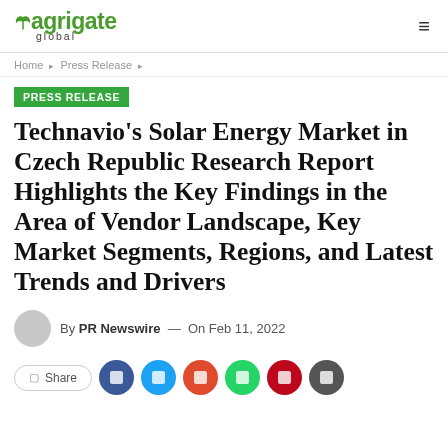agrigate global
Home > Press Release >
PRESS RELEASE
Technavio's Solar Energy Market in Czech Republic Research Report Highlights the Key Findings in the Area of Vendor Landscape, Key Market Segments, Regions, and Latest Trends and Drivers
By PR Newswire — On Feb 11, 2022
Share